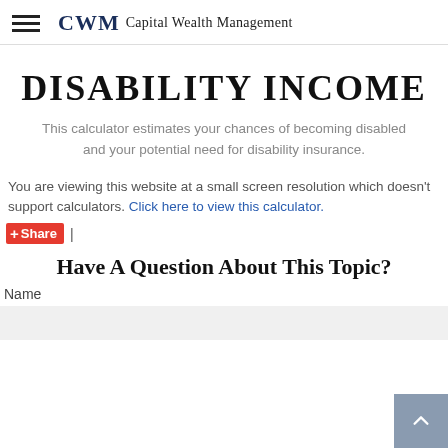CWM Capital Wealth Management
DISABILITY INCOME
This calculator estimates your chances of becoming disabled and your potential need for disability insurance.
You are viewing this website at a small screen resolution which doesn't support calculators. Click here to view this calculator.
+ Share |
Have A Question About This Topic?
Name